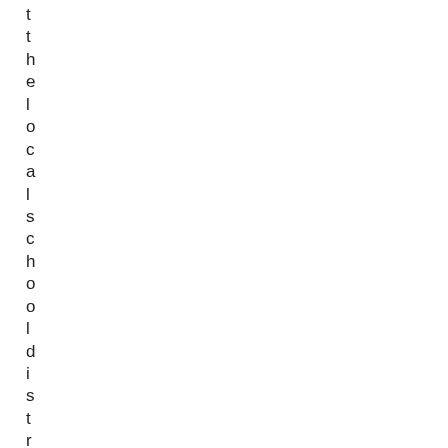the local school district by sho